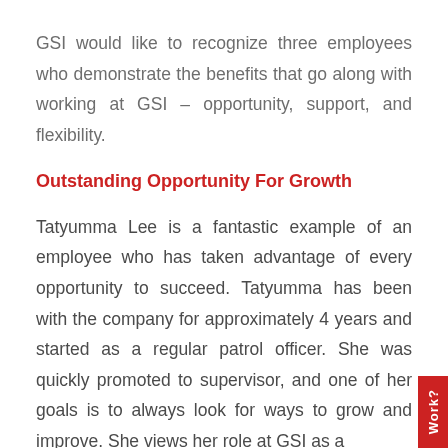GSI would like to recognize three employees who demonstrate the benefits that go along with working at GSI – opportunity, support, and flexibility.
Outstanding Opportunity For Growth
Tatyumma Lee is a fantastic example of an employee who has taken advantage of every opportunity to succeed. Tatyumma has been with the company for approximately 4 years and started as a regular patrol officer. She was quickly promoted to supervisor, and one of her goals is to always look for ways to grow and improve. She views her role at GSI as a